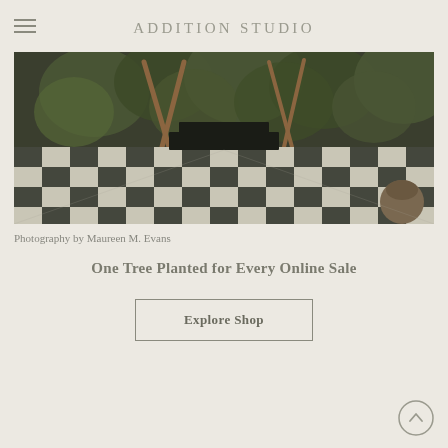ADDITION STUDIO
[Figure (photo): Interior space with black and white checkered marble floor, tropical plants in background, wooden easel-like structures, dark rectangular platform/steps in center, terracotta pot on right]
Photography by Maureen M. Evans
One Tree Planted for Every Online Sale
Explore Shop